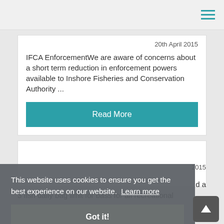20th April 2015
IFCA EnforcementWe are aware of concerns about a short term reduction in enforcement powers available to Inshore Fisheries and Conservation Authority ...
Read More
This website uses cookies to ensure you get the best experience on our website.  Learn more
Got it!
2015
d a
3 fish daily bag limit for bass for all recreational